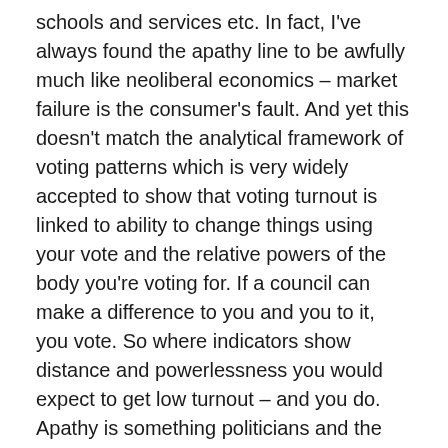schools and services etc. In fact, I've always found the apathy line to be awfully much like neoliberal economics – market failure is the consumer's fault. And yet this doesn't match the analytical framework of voting patterns which is very widely accepted to show that voting turnout is linked to ability to change things using your vote and the relative powers of the body you're voting for. If a council can make a difference to you and you to it, you vote. So where indicators show distance and powerlessness you would expect to get low turnout – and you do. Apathy is something politicians and the political classes use to shift blame. The funny thing is that they aren't to blame in the first place – the system is.
And the third reasoning I've heard today is the 'they're just not angry enough to come out'. That's a variation on the Blair line that low turnout is a sign of satisfaction. I don't